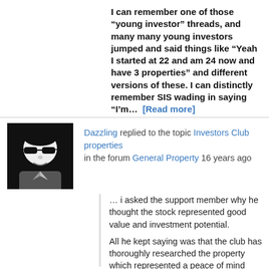I can remember one of those “young investor” threads, and many many young investors jumped and said things like “Yeah I started at 22 and am 24 now and have 3 properties” and different versions of these. I can distinctly remember SIS wading in saying “I’m… [Read more]
Dazzling replied to the topic Investors Club properties in the forum General Property 16 years ago
… i asked the support member why he thought the stock represented good value and investment potential.

All he kept saying was that the club has thoroughly researched the property which represented a peace of mind purchasing decission.

Go figure ???

Exactly…..and if you’ve ever had the opportunity to meet one of these highly praised “Club…